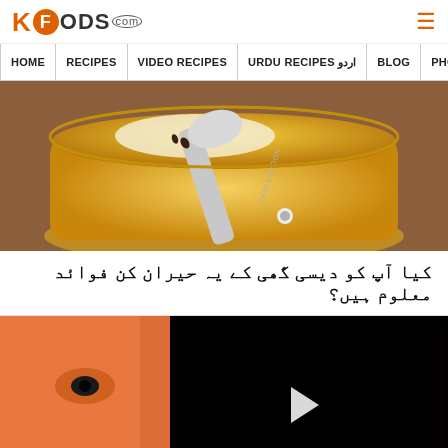KFOODS.com — Site header with logo and hamburger menu
HOME | RECIPES | VIDEO RECIPES | URDU RECIPES اردو | BLOG | PHOTO
[Figure (photo): Close-up photo of a jar of desi ghee (clarified butter) with a metal tablespoon resting on top, showing golden yellow ghee]
کیا آپ کو دیسی گھی کے یہ حیران کن فوائد معلوم ہیں؟
[Figure (screenshot): Video player showing a woman applying face mask, overlaid with a black video player area with a white play button triangle]